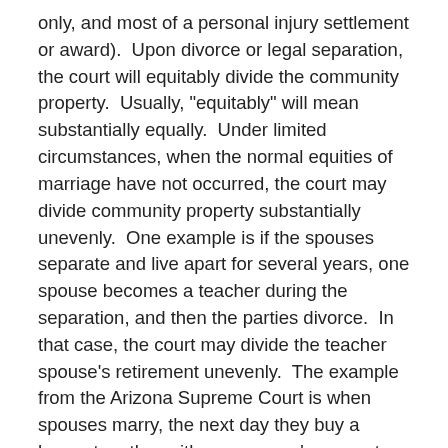only, and most of a personal injury settlement or award).  Upon divorce or legal separation, the court will equitably divide the community property.  Usually, "equitably" will mean substantially equally.  Under limited circumstances, when the normal equities of marriage have not occurred, the court may divide community property substantially unevenly.  One example is if the spouses separate and live apart for several years, one spouse becomes a teacher during the separation, and then the parties divorce.  In that case, the court may divide the teacher spouse's retirement unevenly.  The example from the Arizona Supreme Court is when spouses marry, the next day they buy a house together with one spouse's separate property (money he had prior to the marriage), and two weeks later they file for divorce.
Also, property can change its characterization over time from separate property to community property or vice versa.  Courts call this transmutation.  This can occur by gift, such as when the spouses decide to refinance one spouse's separate property house and sign a new deed accepting the property as